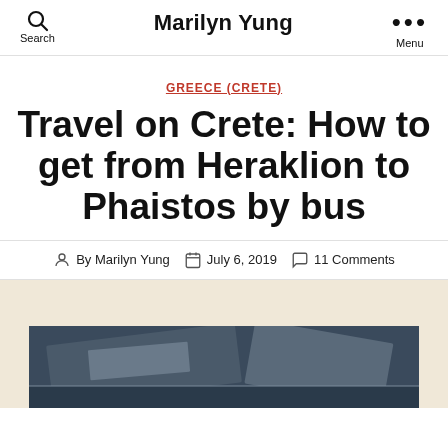Search  Marilyn Yung  Menu
GREECE (CRETE)
Travel on Crete: How to get from Heraklion to Phaistos by bus
By Marilyn Yung  July 6, 2019  11 Comments
[Figure (photo): Photo of bus or travel scene at Phaistos/Crete, partially visible at bottom of page with beige/tan background area]